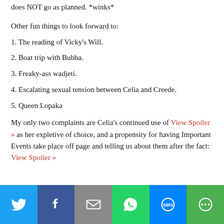does NOT go as planned. *winks*
Other fun things to look forward to:
1. The reading of Vicky's Will.
2. Boat trip with Bubba.
3. Freaky-ass wadjeti.
4. Escalating sexual tension between Celia and Creede.
5. Queen Lopaka
My only two complaints are Celia's continued use of View Spoiler » as her expletive of choice, and a propensity for having Important Events take place off page and telling us about them after the fact: View Spoiler »
[Figure (infographic): Social sharing buttons bar: Twitter (blue), Facebook (dark blue), Email (gray), WhatsApp (green), SMS (blue), More (green)]